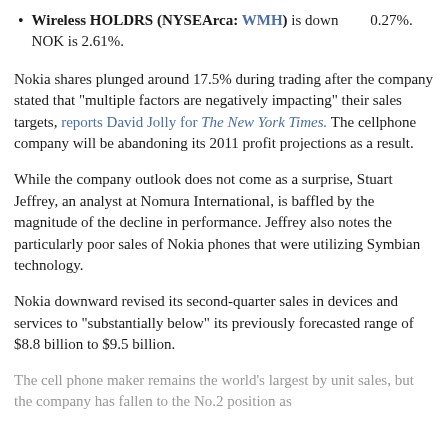Wireless HOLDRS (NYSEArca: WMH) is down 0.27%. NOK is 2.61%.
Nokia shares plunged around 17.5% during trading after the company stated that “multiple factors are negatively impacting” their sales targets, reports David Jolly for The New York Times. The cellphone company will be abandoning its 2011 profit projections as a result.
While the company outlook does not come as a surprise, Stuart Jeffrey, an analyst at Nomura International, is baffled by the magnitude of the decline in performance. Jeffrey also notes the particularly poor sales of Nokia phones that were utilizing Symbian technology.
Nokia downward revised its second-quarter sales in devices and services to “substantially below” its previously forecasted range of $8.8 billion to $9.5 billion.
The cell phone maker remains the world’s largest by unit sales, but the company has fallen to the No.2 position as